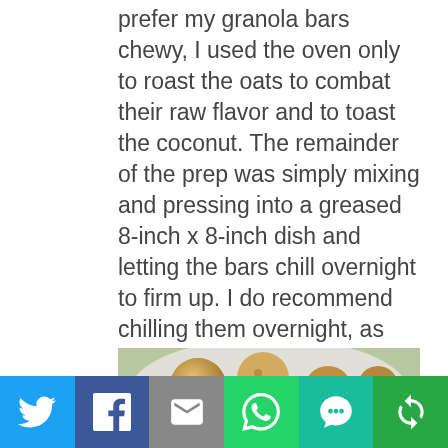prefer my granola bars chewy, I used the oven only to roast the oats to combat their raw flavor and to toast the coconut. The remainder of the prep was simply mixing and pressing into a greased 8-inch x 8-inch dish and letting the bars chill overnight to firm up. I do recommend chilling them overnight, as only a few hours of chilling results in more crumbling.
[Figure (photo): Photo of granola balls/bars with a striped green and white bowl containing granola in the foreground, and a plate with granola balls in the background.]
Social sharing toolbar with Twitter, Facebook, Email, WhatsApp, SMS, and Share buttons